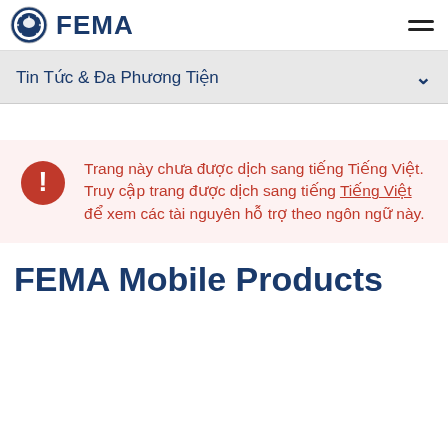FEMA
Tin Tức & Đa Phương Tiện
Trang này chưa được dịch sang tiếng Tiếng Việt. Truy cập trang được dịch sang tiếng Tiếng Việt để xem các tài nguyên hỗ trợ theo ngôn ngữ này.
FEMA Mobile Products